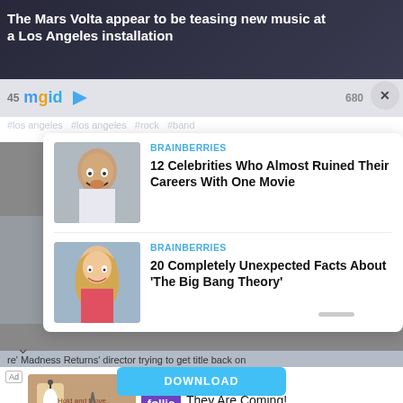The Mars Volta appear to be teasing new music at a Los Angeles installation
[Figure (screenshot): MGID content recommendation widget bar with logo, numbers 45 and 680, and close button X]
#los angeles  #los angeles  #rock  #band
[Figure (photo): Celebrity man with surprised expression, shirtless in white shirt]
BRAINBERRIES
12 Celebrities Who Almost Ruined Their Careers With One Movie
[Figure (photo): Blonde woman in pink top, looks surprised]
BRAINBERRIES
20 Completely Unexpected Facts About 'The Big Bang Theory'
re' Madness Returns' director trying to get title back on
[Figure (screenshot): Ad banner: game graphic with bowling pin character and Follic app icon. Text says They Are Coming!]
Ad
They Are Coming!
DOWNLOAD